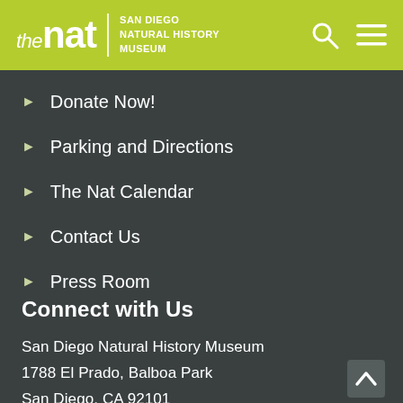[Figure (logo): The Nat - San Diego Natural History Museum logo in yellow-green header bar with search and menu icons]
Donate Now!
Parking and Directions
The Nat Calendar
Contact Us
Press Room
Connect with Us
San Diego Natural History Museum
1788 El Prado, Balboa Park
San Diego, CA 92101
619.232.3821